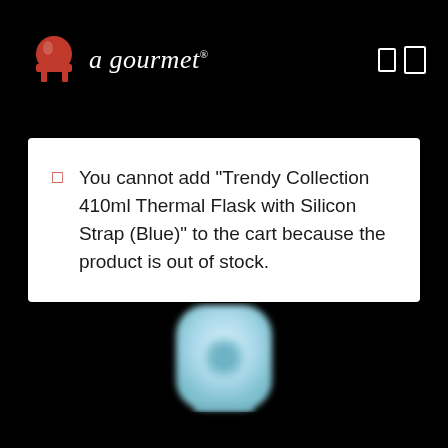[Figure (logo): La gourmet brand logo with red chef hat icon and white italic text on black background]
You cannot add "Trendy Collection 410ml Thermal Flask with Silicon Strap (Blue)" to the cart because the product is out of stock.
[Figure (photo): Blurred top-down view of a light blue thermal flask cap/lid against black background]